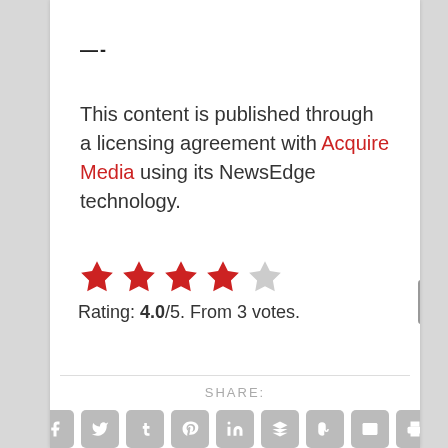—-
This content is published through a licensing agreement with Acquire Media using its NewsEdge technology.
[Figure (other): 4 out of 5 stars rating display — 4 filled red stars, 1 empty grey star]
Rating: 4.0/5. From 3 votes.
SHARE:
[Figure (other): Row of 9 social share icon buttons: Facebook, Twitter, Tumblr, Pinterest, LinkedIn, Buffer, StumbleUpon, Email, Print]